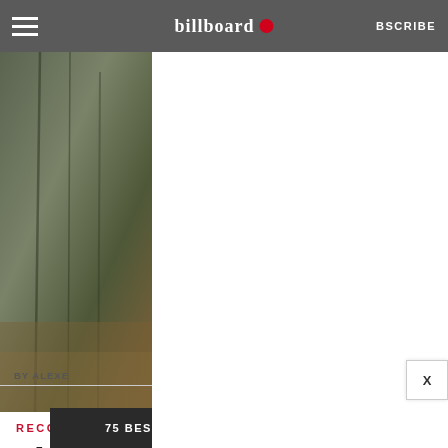billboard SUBSCRIBE
[Figure (photo): Left photo strip showing a flooded or dark industrial/architectural scene with trees or pipes, muted brown-green tones]
[Figure (photo): Right photo strip showing a similar flooded or dark industrial/architectural scene, muted brown-green tones]
[Figure (other): White ad overlay box covering the center of the page]
RECORD
Ukra… Awar… eace Prize
BY ALEXE…
3 hrs a…
[Figure (other): Close X button overlay]
75 BEST GADGETS OF 2022 SPY